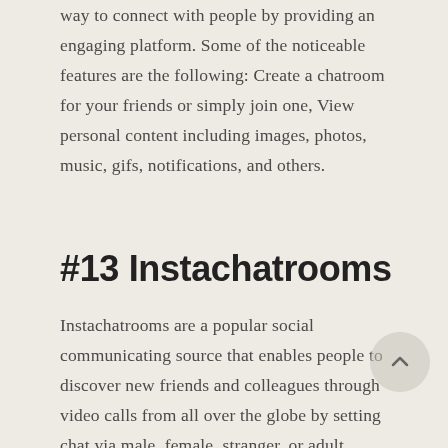way to connect with people by providing an engaging platform. Some of the noticeable features are the following: Create a chatroom for your friends or simply join one, View personal content including images, photos, music, gifs, notifications, and others.
#13 Instachatrooms
Instachatrooms are a popular social communicating source that enables people to discover new friends and colleagues through video calls from all over the globe by setting chat via male, female, stranger, or adult categories. It is a valuable service that lets people find anyone with ease